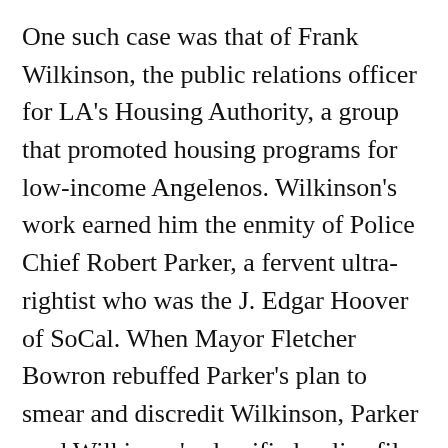One such case was that of Frank Wilkinson, the public relations officer for LA's Housing Authority, a group that promoted housing programs for low-income Angelenos. Wilkinson's work earned him the enmity of Police Chief Robert Parker, a fervent ultra-rightist who was the J. Edgar Hoover of SoCal. When Mayor Fletcher Bowron rebuffed Parker's plan to smear and discredit Wilkinson, Parker read Wilkinson's classified police file out during a televised state legislative committee hearing. Shortly thereafter, Wilkinson's home and office were both bombed. Police interrogated Wilkinson in order to build the case that he had perpetrated the bombings himself in order to garner public sympathy. Accusing the victim of conducting false-flag attacks, while expending little effort to